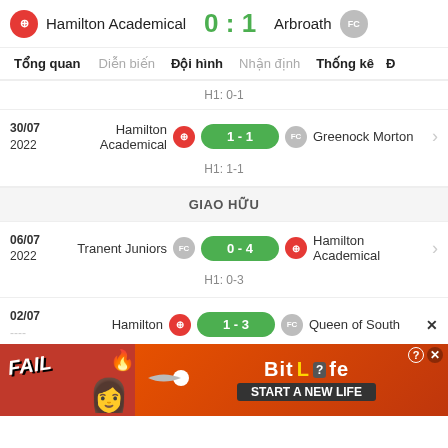Hamilton Academical 0 : 1 Arbroath
Tổng quan | Diễn biến | Đội hình | Nhận định | Thống kê | Đ
H1: 0-1
30/07 2022 Hamilton Academical 1 - 1 Greenock Morton
H1: 1-1
GIAO HỮU
06/07 2022 Tranent Juniors 0 - 4 Hamilton Academical
H1: 0-3
02/07 Hamilton 1 - 3 Queen of South
[Figure (screenshot): BitLife advertisement banner with FAIL text and character on left, BitLife logo and START A NEW LIFE text on right]